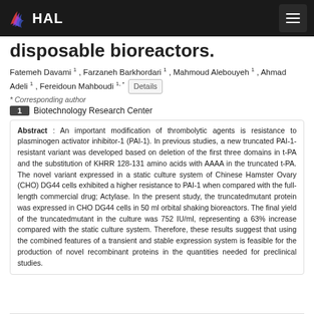HAL
disposable bioreactors.
Fatemeh Davami 1 , Farzaneh Barkhordari 1 , Mahmoud Alebouyeh 1 , Ahmad Adeli 1 , Fereidoun Mahboudi 1, * Details
* Corresponding author
1 Biotechnology Research Center
Abstract : An important modification of thrombolytic agents is resistance to plasminogen activator inhibitor-1 (PAI-1). In previous studies, a new truncated PAI-1-resistant variant was developed based on deletion of the first three domains in t-PA and the substitution of KHRR 128-131 amino acids with AAAA in the truncated t-PA. The novel variant expressed in a static culture system of Chinese Hamster Ovary (CHO) DG44 cells exhibited a higher resistance to PAI-1 when compared with the full-length commercial drug; Actylase. In the present study, the truncatedmutant protein was expressed in CHO DG44 cells in 50 ml orbital shaking bioreactors. The final yield of the truncatedmutant in the culture was 752 IU/ml, representing a 63% increase compared with the static culture system. Therefore, these results suggest that using the combined features of a transient and stable expression system is feasible for the production of novel recombinant proteins in the quantities needed for preclinical studies.